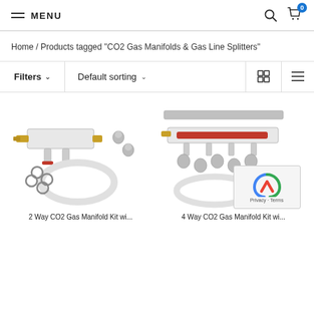MENU
Home / Products tagged “CO2 Gas Manifolds & Gas Line Splitters”
Filters ⌄   Default sorting ⌄
[Figure (photo): 2-Way CO2 Gas Manifold Kit with red handle valves, barbed fittings, tubing, and clamps]
[Figure (photo): 4-Way CO2 Gas Manifold Kit with red handle valves, multiple barbed fittings, tubing, and clamps]
2 Way CO2 Gas Manifold Kit wi...
4 Way CO2 Gas Manifold Kit wi...